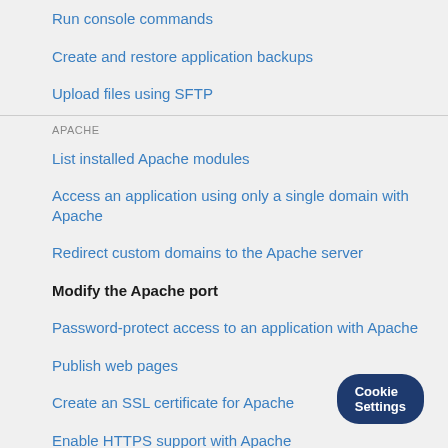Run console commands
Create and restore application backups
Upload files using SFTP
APACHE
List installed Apache modules
Access an application using only a single domain with Apache
Redirect custom domains to the Apache server
Modify the Apache port
Password-protect access to an application with Apache
Publish web pages
Create an SSL certificate for Apache
Enable HTTPS support with Apache
Enable HTTP/2 support with Apache
Force HTTPS redirection with Apache
Troubleshoot SSL certificates a…